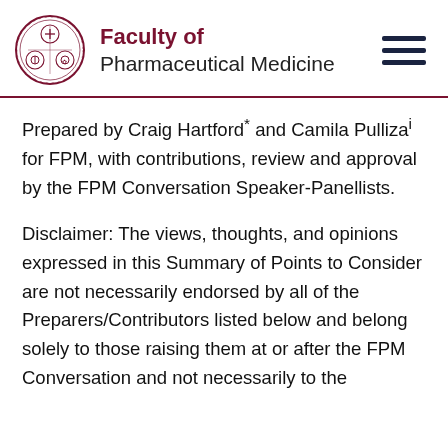Faculty of Pharmaceutical Medicine
Prepared by Craig Hartford and Camila Pulliza for FPM, with contributions, review and approval by the FPM Conversation Speaker-Panellists.
Disclaimer: The views, thoughts, and opinions expressed in this Summary of Points to Consider are not necessarily endorsed by all of the Preparers/Contributors listed below and belong solely to those raising them at or after the FPM Conversation and not necessarily to the